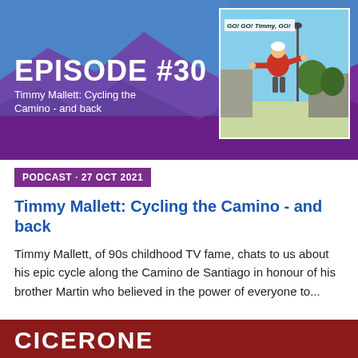[Figure (photo): Podcast episode cover image for Episode #30 featuring Timmy Mallett: Cycling the Camino - and back. Blue and purple mountain background with inset photo of a man in red jacket and cycling helmet with arms outstretched, with a sign reading GO! GO! Timmy, GO!]
PODCAST · 27 OCT 2021
Timmy Mallett: Cycling the Camino - and back
Timmy Mallett, of 90s childhood TV fame, chats to us about his epic cycle along the Camino de Santiago in honour of his brother Martin who believed in the power of everyone to...
[Figure (logo): Cicerone logo in white text on dark red background at bottom of page]